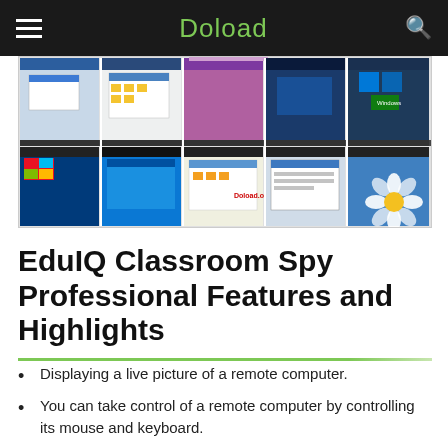Doload
[Figure (screenshot): A 2x5 grid of computer desktop screenshot thumbnails showing various operating systems including Windows 7, Mac OS X, Windows 10, and Windows Phone screens. A watermark reading 'Doload.org' appears in the lower middle cell.]
EduIQ Classroom Spy Professional Features and Highlights
Displaying a live picture of a remote computer.
You can take control of a remote computer by controlling its mouse and keyboard.
More remote screens can be displayed in a table.
Computers can be organized in computer groups (e.g.